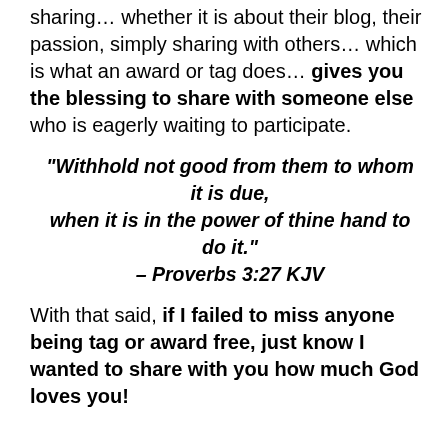sharing… whether it is about their blog, their passion, simply sharing with others… which is what an award or tag does… gives you the blessing to share with someone else who is eagerly waiting to participate.
“Withhold not good from them to whom it is due, when it is in the power of thine hand to do it.” – Proverbs 3:27 KJV
With that said, if I failed to miss anyone being tag or award free, just know I wanted to share with you how much God loves you!